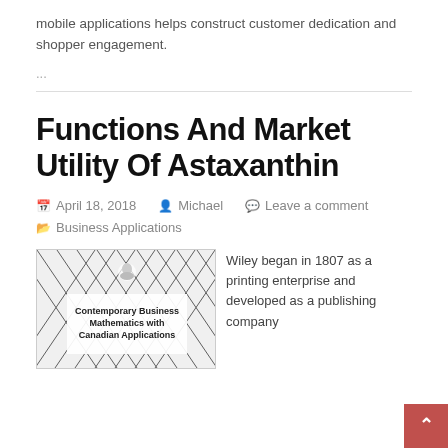mobile applications helps construct customer dedication and shopper engagement.
...
Functions And Market Utility Of Astaxanthin
April 18, 2018   Michael   Leave a comment   Business Applications
[Figure (photo): Book cover of 'Contemporary Business Mathematics with Canadian Applications' with diagonal line pattern background]
Wiley began in 1807 as a printing enterprise and developed as a publishing company